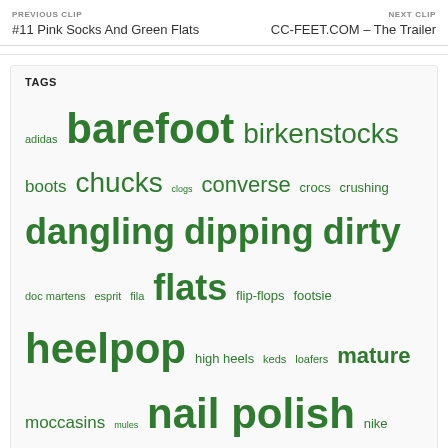PREVIOUS CLIP
#11 Pink Socks And Green Flats
NEXT CLIP
CC-FEET.COM – The Trailer
TAGS
adidas barefoot birkenstocks boots chucks clogs converse crocs crushing dangling dipping dirty doc martens esprit fila flats flip-flops footsie heelpop high heels keds loafers mature moccasins mules nail polish nike nylons pantyhose peds plimsoles puma pumps reebok rubbing sandals shoeplay skechers slippers sneakers socks tattoo thongs tights toe cleavage toes vans wedges